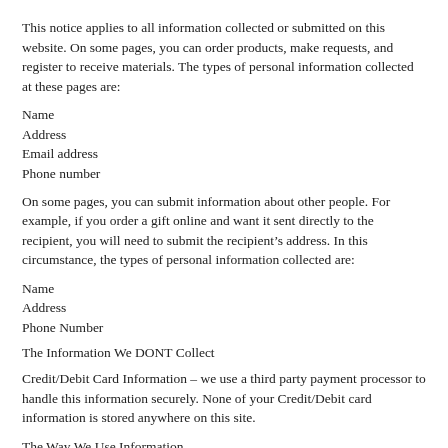This notice applies to all information collected or submitted on this website. On some pages, you can order products, make requests, and register to receive materials. The types of personal information collected at these pages are:
Name
Address
Email address
Phone number
On some pages, you can submit information about other people. For example, if you order a gift online and want it sent directly to the recipient, you will need to submit the recipient’s address. In this circumstance, the types of personal information collected are:
Name
Address
Phone Number
The Information We DONT Collect
Credit/Debit Card Information – we use a third party payment processor to handle this information securely. None of your Credit/Debit card information is stored anywhere on this site.
The Way We Use Information
We use the information you provide about yourself when placing an order only to complete that order. We do not share this information with outside